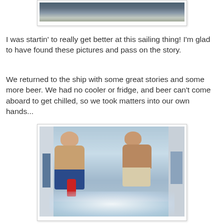[Figure (photo): Partial view of a sailboat on water, cropped at top of page]
I was startin' to really get better at this sailing thing! I'm glad to have found these pictures and pass on the story.
We returned to the ship with some great stories and some more beer. We had no cooler or fridge, and beer can't come aboard to get chilled, so we took matters into our own hands...
[Figure (photo): Two shirtless men in a tiled room using a fire extinguisher to create CO2 mist/cold, presumably to chill beer]